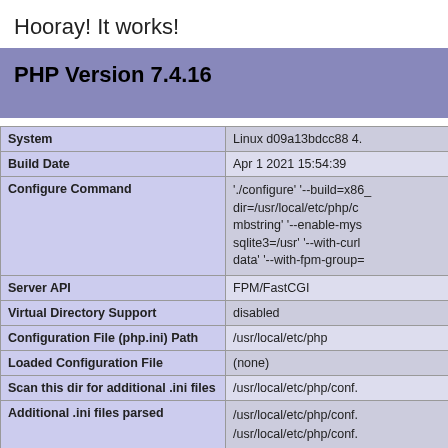Hooray! It works!
PHP Version 7.4.16
|  |  |
| --- | --- |
| System | Linux d09a13bdcc88 4. |
| Build Date | Apr 1 2021 15:54:39 |
| Configure Command | './configure' '--build=x86_dir=/usr/local/etc/php/c mbstring' '--enable-mys sqlite3=/usr' '--with-curl data' '--with-fpm-group= |
| Server API | FPM/FastCGI |
| Virtual Directory Support | disabled |
| Configuration File (php.ini) Path | /usr/local/etc/php |
| Loaded Configuration File | (none) |
| Scan this dir for additional .ini files | /usr/local/etc/php/conf. |
| Additional .ini files parsed | /usr/local/etc/php/conf.
/usr/local/etc/php/conf.
/usr/local/etc/php/conf.
/usr/local/etc/php/conf.
/usr/local/etc/php/conf. |